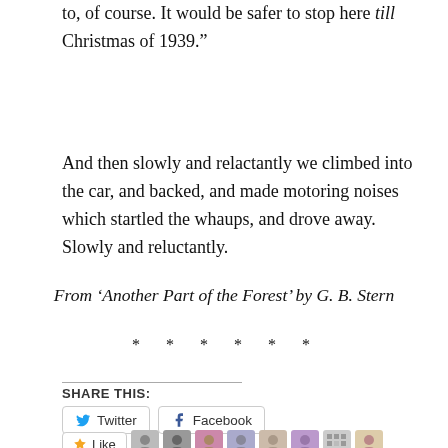to, of course. It would be safer to stop here till Christmas of 1939.”
And then slowly and relactantly we climbed into the car, and backed, and made motoring noises which startled the whaups, and drove away. Slowly and reluctantly.
From ‘Another Part of the Forest’ by G. B. Stern
* * * * * *
SHARE THIS:
Twitter   Facebook
Like